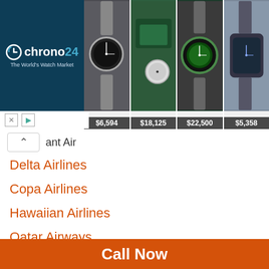[Figure (screenshot): Chrono24 advertisement banner showing luxury watches with prices: $6,594, $18,125, $22,500, $5,358]
ant Air
Delta Airlines
Copa Airlines
Hawaiian Airlines
Qatar Airways
Emirates Airlines
American Airlines
Lufthansa Airlines
British Airways
Cathay Pacific
United Airlines
Call Now